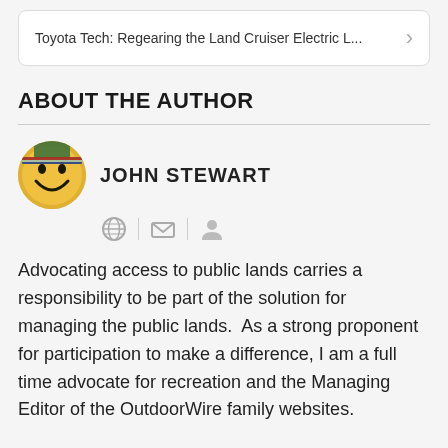Toyota Tech: Regearing the Land Cruiser Electric L...
ABOUT THE AUTHOR
JOHN STEWART
[Figure (illustration): Author icon with globe, email, and profile icons]
Advocating access to public lands carries a responsibility to be part of the solution for managing the public lands.  As a strong proponent for participation to make a difference, I am a full time advocate for recreation and the Managing Editor of the OutdoorWire family websites.